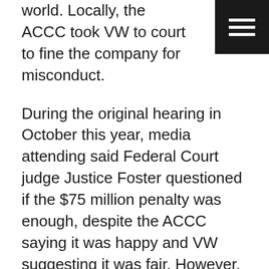world. Locally, the ACCC took VW to court to fine the company for misconduct.
[Figure (other): Hamburger menu icon button — three white horizontal lines on a black square background, top-right corner]
During the original hearing in October this year, media attending said Federal Court judge Justice Foster questioned if the $75 million penalty was enough, despite the ACCC saying it was happy and VW suggesting it was fair. However, today, the Federal Court increased the fine by $50 million.
“Volkswagen’s conduct was blatant and deliberate,” said ACCC Chair Rod Sims in a media statement.
“This penalty reflects a trend of ever higher penalties for breaches of Australian consumer law.”
But a statement from VW says it is considering an appeal.